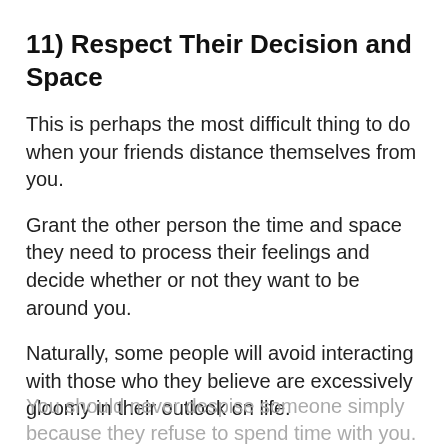11) Respect Their Decision and Space
This is perhaps the most difficult thing to do when your friends distance themselves from you.
Grant the other person the time and space they need to process their feelings and decide whether or not they want to be around you.
Naturally, some people will avoid interacting with those who they believe are excessively gloomy in their outlook on life.
You should never despise someone simply because they refuse to spend time with you.